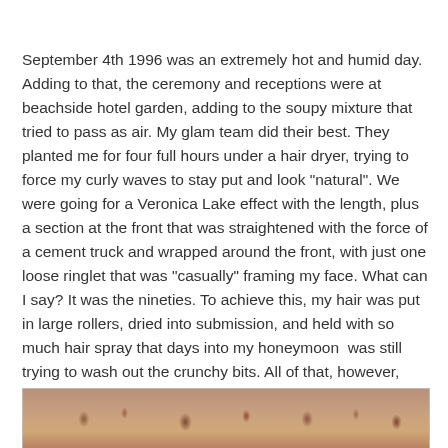September 4th 1996 was an extremely hot and humid day. Adding to that, the ceremony and receptions were at beachside hotel garden, adding to the soupy mixture that tried to pass as air. My glam team did their best. They planted me for four full hours under a hair dryer, trying to force my curly waves to stay put and look "natural". We were going for a Veronica Lake effect with the length, plus a section at the front that was straightened with the force of a cement truck and wrapped around the front, with just one loose ringlet that was "casually" framing my face. What can I say? It was the nineties. To achieve this, my hair was put in large rollers, dried into submission, and held with so much hair spray that days into my honeymoon  was still trying to wash out the crunchy bits. All of that, however, was no match for the humidity and sea air. By the time I walked down the aisle my waves were already limp and heavy. The front part was still holding, though, but feeling stiff.
[Figure (photo): Partial view of a sepia-toned or vintage photograph showing what appears to be a person, cropped at the bottom of the page.]